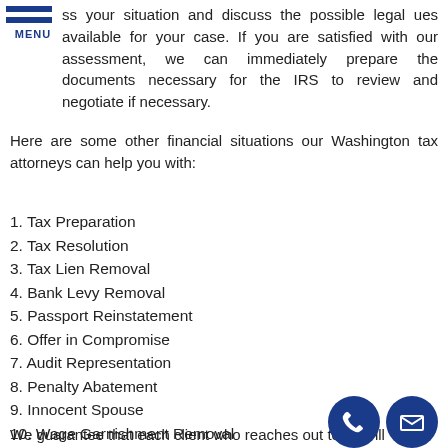MENU
ss your situation and discuss the possible legal ues available for your case. If you are satisfied with our assessment, we can immediately prepare the documents necessary for the IRS to review and negotiate if necessary.
Here are some other financial situations our Washington tax attorneys can help you with:
1. Tax Preparation
2. Tax Resolution
3. Tax Lien Removal
4. Bank Levy Removal
5. Passport Reinstatement
6. Offer in Compromise
7. Audit Representation
8. Penalty Abatement
9. Innocent Spouse
10. Wage Garnishment Removal
We guarantee that each client who reaches out to us will